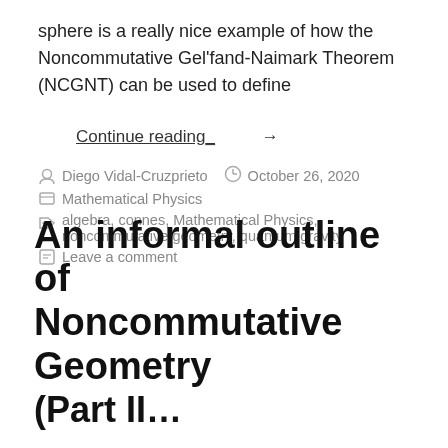sphere is a really nice example of how the Noncommutative Gel'fand-Naimark Theorem (NCGNT) can be used to define
Continue reading →
Diego Vidal-Cruzprieto   October 26, 2020
Mathematical Physics
algebra, connes, Mathematical Physics, noncommutative geometry, quantum gravity
Leave a comment
An informal outline of Noncommutative Geometry (Part II…